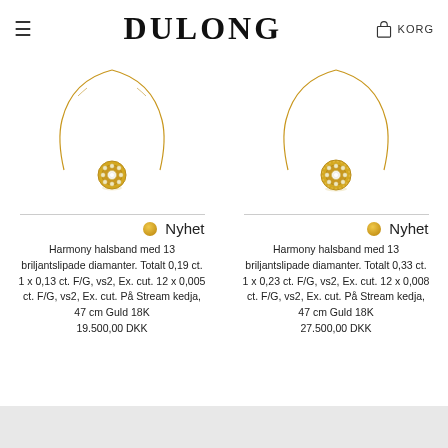≡  DULONG  🛍 KORG
[Figure (photo): Gold necklace with diamond pendant - Harmony halsband med 13 briljantslipade diamanter, smaller version]
[Figure (photo): Gold necklace with diamond pendant - Harmony halsband med 13 briljantslipade diamanter, larger version]
Nyhet
Nyhet
Harmony halsband med 13 briljantslipade diamanter. Totalt 0,19 ct. 1 x 0,13 ct. F/G, vs2, Ex. cut. 12 x 0,005 ct. F/G, vs2, Ex. cut. På Stream kedja, 47 cm Guld 18K 19.500,00 DKK
Harmony halsband med 13 briljantslipade diamanter. Totalt 0,33 ct. 1 x 0,23 ct. F/G, vs2, Ex. cut. 12 x 0,008 ct. F/G, vs2, Ex. cut. På Stream kedja, 47 cm Guld 18K 27.500,00 DKK